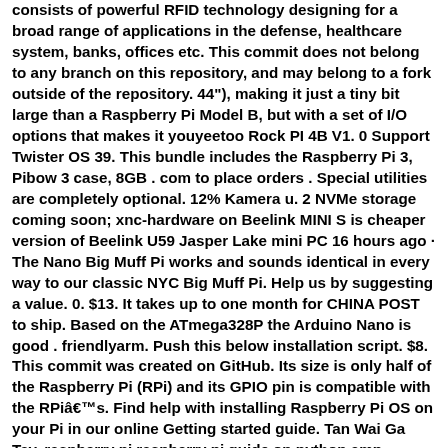consists of powerful RFID technology designing for a broad range of applications in the defense, healthcare system, banks, offices etc. This commit does not belong to any branch on this repository, and may belong to a fork outside of the repository. 44"), making it just a tiny bit large than a Raspberry Pi Model B, but with a set of I/O options that makes it youyeetoo Rock PI 4B V1. 0 Support Twister OS 39. This bundle includes the Raspberry Pi 3, Pibow 3 case, 8GB . com to place orders . Special utilities are completely optional. 12% Kamera u. 2 NVMe storage coming soon; xnc-hardware on Beelink MINI S is cheaper version of Beelink U59 Jasper Lake mini PC 16 hours ago · The Nano Big Muff Pi works and sounds identical in every way to our classic NYC Big Muff Pi. Help us by suggesting a value. 0. $13. It takes up to one month for CHINA POST to ship. Based on the ATmega328P the Arduino Nano is good . friendlyarm. Push this below installation script. $8. This commit was created on GitHub. Its size is only half of the Raspberry Pi (RPi) and its GPIO pin is compatible with the RPiâ€™s. Find help with installing Raspberry Pi OS on your Pi in our online Getting started guide. Tan Wai Ga Tay. raspberry pi raspberry pi guide on python amp projects. Ini menggunakan partikel nano untuk menyaring panjang gelombang cahaya berlebih atau tidak perlu untuk menghasilkan cahaya latar putih yang lebih bersih dan akurat. Packaging should be the same as what is found in a retail store.